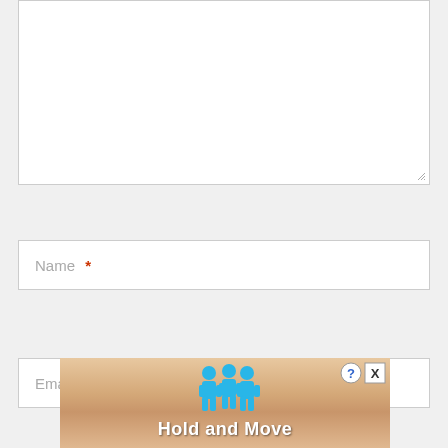[Figure (screenshot): Empty textarea input box with a resize handle in the bottom-right corner]
Name *
Email *
[Figure (infographic): Advertisement banner showing 'Hold and Move' game with blue cartoon people figures on a sandy/wooden lane background, with help (?) and close (X) buttons]